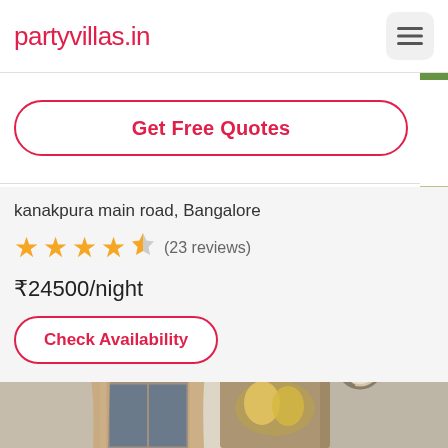partyvillas.in
Get Free Quotes
kanakpura main road, Bangalore
★★★★½ (23 reviews)
₹24500/night
Check Availability
[Figure (photo): Interior room photo showing a wall with a decorative clock, curtain rod with curtains near a window, and a colorful wall painting/tapestry.]